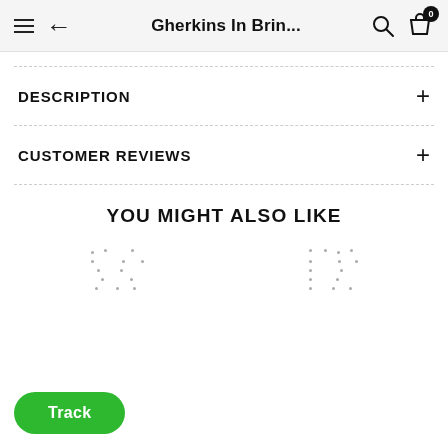Gherkins In Brin...
DESCRIPTION
CUSTOMER REVIEWS
YOU MIGHT ALSO LIKE
[Figure (other): Loading placeholder dots for product images in 'You Might Also Like' section]
Track